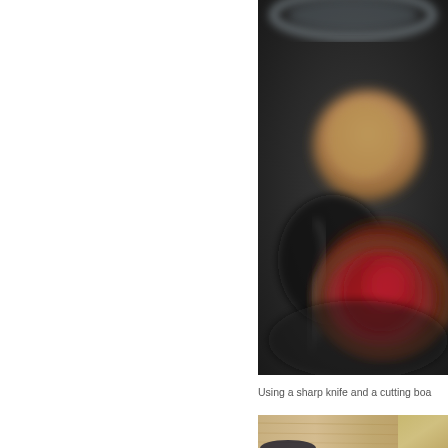[Figure (photo): Blurry close-up photo of what appears to be food items on a dark surface — a cross-section of a beet or similar red vegetable and some bread or pastry, seen from above on a dark plate or pan]
Using a sharp knife and a cutting boa
[Figure (photo): Partial view of a cutting board with food items, bottom portion of the page]